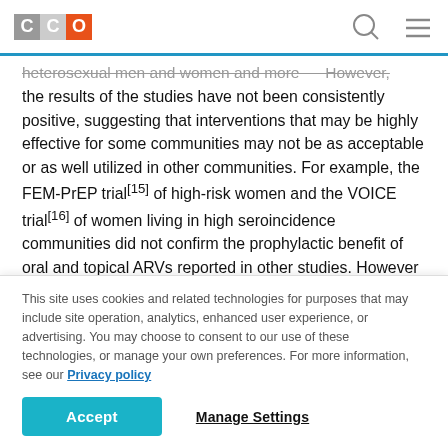CCO
heterosexual men and women and more... However, the results of the studies have not been consistently positive, suggesting that interventions that may be highly effective for some communities may not be as acceptable or as well utilized in other communities. For example, the FEM-PrEP trial[15] of high-risk women and the VOICE trial[16] of women living in high seroincidence communities did not confirm the prophylactic benefit of oral and topical ARVs reported in other studies. However results from a study of oral
This site uses cookies and related technologies for purposes that may include site operation, analytics, enhanced user experience, or advertising. You may choose to consent to our use of these technologies, or manage your own preferences. For more information, see our Privacy policy
Accept  Manage Settings